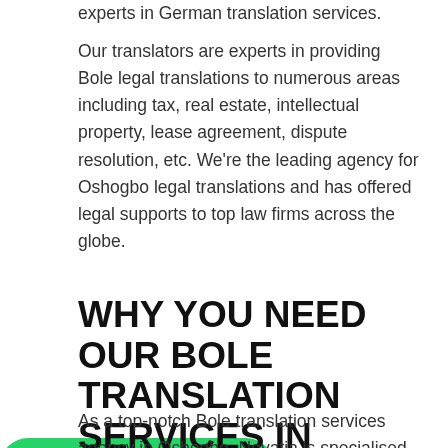experts in German translation services.
Our translators are experts in providing Bole legal translations to numerous areas including tax, real estate, intellectual property, lease agreement, dispute resolution, etc. We're the leading agency for Oshogbo legal translations and has offered legal supports to top law firms across the globe.
[Figure (other): Green rounded button with WhatsApp icon and text 'Chat on WhatsApp']
WHY YOU NEED OUR BOLE TRANSLATION SERVICES IN OSHOGBO
As a top-notch Bole translation services agency in Oshogbo, Novatia is specialised in providing the best